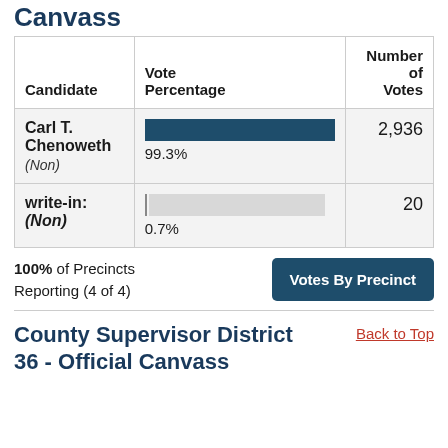Canvass
| Candidate | Vote Percentage | Number of Votes |
| --- | --- | --- |
| Carl T. Chenoweth (Non) | 99.3% | 2,936 |
| write-in: (Non) | 0.7% | 20 |
100% of Precincts Reporting (4 of 4)
Votes By Precinct
County Supervisor District 36 - Official Canvass
Back to Top